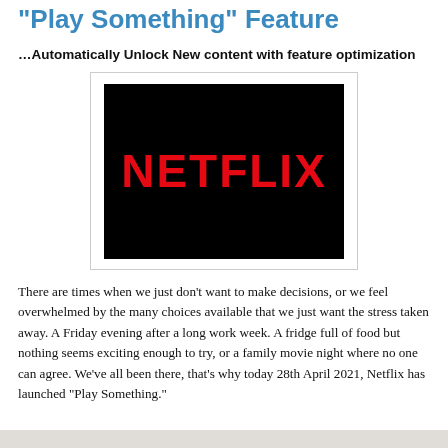“Play Something” Feature
…Automatically Unlock New content with feature optimization
[Figure (logo): Netflix logo: red NETFLIX text on black background, inside a light-bordered white frame]
There are times when we just don’t want to make decisions, or we feel overwhelmed by the many choices available that we just want the stress taken away. A Friday evening after a long work week. A fridge full of food but nothing seems exciting enough to try, or a family movie night where no one can agree. We’ve all been there, that’s why today 28th April 2021, Netflix has launched “Play Something.”